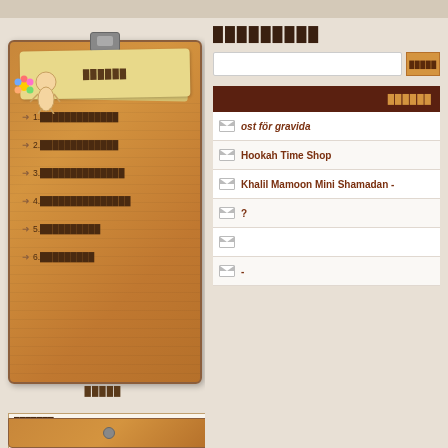████████
█████████
1.█████████████
2.█████████████
3.██████████████
4.███████████████
5.██████████
6.█████████
█████
|  |  |
| --- | --- |
| ███████ | 08/11/2012 |
| ██████████ | 16/04/2020 |
| █████████████ | 905,559 |
| ████████████████ | 1,150,698 |
| ████████████ | 77 |
██████
ost f&ouml;r gravida
Hookah Time Shop
Khalil Mamoon Mini Shamadan -
?
-